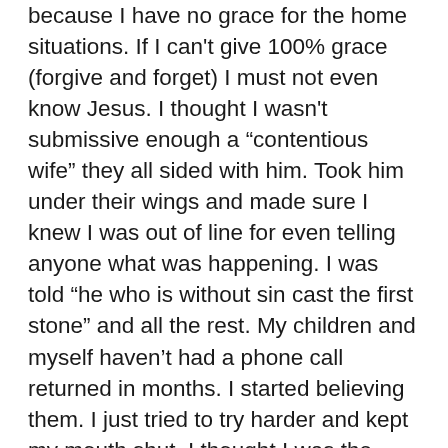because I have no grace for the home situations. If I can't give 100% grace (forgive and forget) I must not even know Jesus. I thought I wasn't submissive enough a “contentious wife” they all sided with him. Took him under their wings and made sure I knew I was out of line for even telling anyone what was happening. I was told “he who is without sin cast the first stone” and all the rest. My children and myself haven’t had a phone call returned in months. I started believing them. I just tried to try harder and kept my mouth shut. I thought I was the enemy. I thought I failed at loving him enough. That if I actually show the love of Jesus he will get better. So it must be my fault. I truly thought they must be giving me real counsel. I know them all. I serve on boards. I